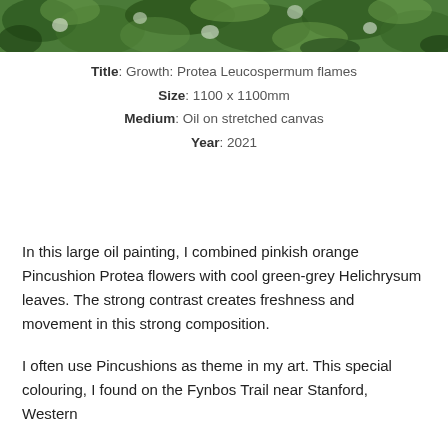[Figure (photo): Top strip of a painting showing green foliage with white flowers — Protea Leucospermum flames artwork]
Title: Growth: Protea Leucospermum flames
Size: 1100 x 1100mm
Medium: Oil on stretched canvas
Year: 2021
In this large oil painting, I combined pinkish orange Pincushion Protea flowers with cool green-grey Helichrysum leaves. The strong contrast creates freshness and movement in this strong composition.
I often use Pincushions as theme in my art. This special colouring, I found on the Fynbos Trail near Stanford, Western